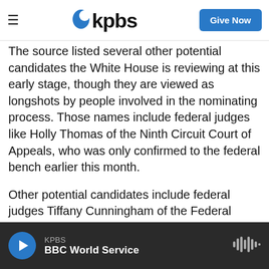KPBS — Give Now
The source listed several other potential candidates the White House is reviewing at this early stage, though they are viewed as longshots by people involved in the nominating process. Those names include federal judges like Holly Thomas of the Ninth Circuit Court of Appeals, who was only confirmed to the federal bench earlier this month.
Other potential candidates include federal judges Tiffany Cunningham of the Federal Circuit; Eunice Lee of the Second Circuit; and Wilhelmina Wright of the U.S. District Court for the District of Minnesota.
KPBS — BBC World Service